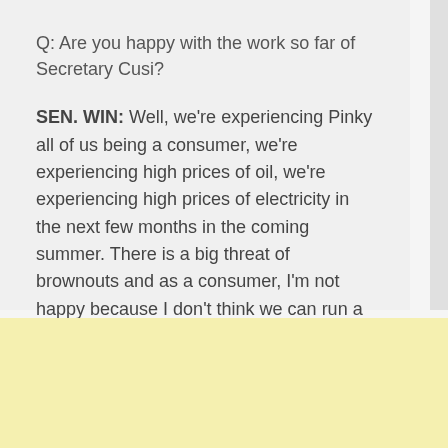Q: Are you happy with the work so far of Secretary Cusi?
SEN. WIN: Well, we're experiencing Pinky all of us being a consumer, we're experiencing high prices of oil, we're experiencing high prices of electricity in the next few months in the coming summer. There is a big threat of brownouts and as a consumer, I'm not happy because I don't think we can run a business with the threat of brownouts. I don't think we can run any business with the threat of high prices of oil.
[Figure (other): Advertisement banner with light yellow background]